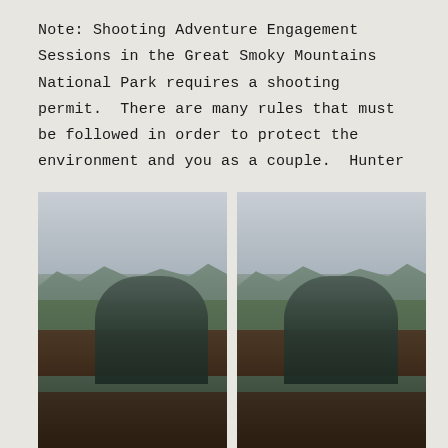Note: Shooting Adventure Engagement Sessions in the Great Smoky Mountains National Park requires a shooting permit.  There are many rules that must be followed in order to protect the environment and you as a couple.  Hunter
[Figure (photo): Two photographs side by side of a couple embracing on a wooden railing overlook with mountain and forested landscape in the background under an overcast sky. The couple consists of a woman in a floral dress and a man in a gray shirt.]